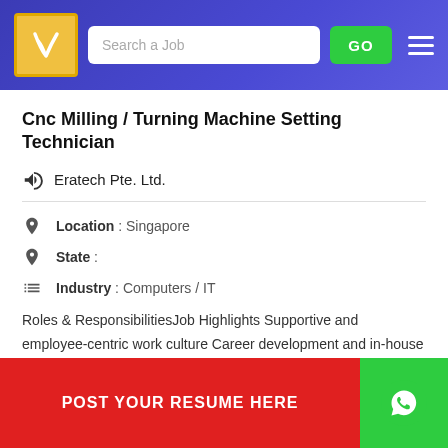Search a Job | GO
Cnc Milling / Turning Machine Setting Technician
Eratech Pte. Ltd.
Location : Singapore
State :
Industry : Computers / IT
Roles & ResponsibilitiesJob Highlights Supportive and employee-centric work culture Career development and in-house training Good employee welfare and benefits Min 2 years hands-on e...k J... O...t-u...
POST YOUR RESUME HERE